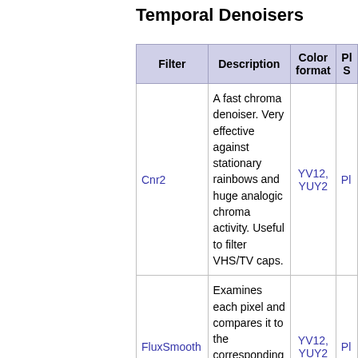Temporal Denoisers
| Filter | Description | Color format | Pl S |
| --- | --- | --- | --- |
| Cnr2 | A fast chroma denoiser. Very effective against stationary rainbows and huge analogic chroma activity. Useful to filter VHS/TV caps. | YV12, YUY2 | Pl |
| FluxSmooth | Examines each pixel and compares it to the corresponding pixel in the previous and last frame. | YV12, YUY2 | Pl |
|  | This filter averages out |  |  |